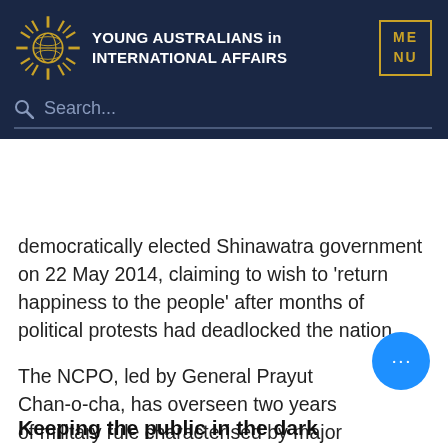[Figure (logo): Young Australians in International Affairs logo with navigation overlay including menu button and search bar]
democratically elected Shinawatra government on 22 May 2014, claiming to wish to 'return happiness to the people' after months of political protests had deadlocked the nation.
The NCPO, led by General Prayut Chan-o-cha, has overseen two years of military rule characterised by major crackdowns on freedom of speech and assembly.
Keeping the public in the dark